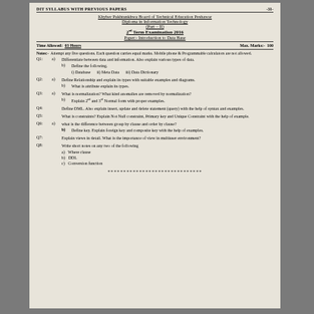DIT SYLLABUS WITH PREVIOUS PAPERS   -31-
Khyber Pakhtunkhwa Board of Technical Education Peshawar
Diploma in Information Technology
(Part – II)
2nd Term Examination 2016
Paper:- Introduction to Data Base
Time Allowed: 03 Hours   Max. Marks:- 100
Notes:- Attempt any five questions. Each question carries equal marks. Mobile phone & Programmable calculators are not allowed.
Q1: a) Differentiate between data and information. Also explain various types of data.
    b) Define the following.
       i) Database   ii) Meta Data   iii) Data Dictionary
Q2: a) Define Relationship and explain its types with suitable examples and diagrams.
    b) What is attribute explain its types.
Q3: a) What is normalization? What kind anomalies are removed by normalization?
    b) Explain 2nd and 3rd Normal form with proper examples.
Q4: Define DML. Also explain insert, update and delete statement (query) with the help of syntax and examples.
Q5: What is constraints? Explain Not Null constraint, Primary key and Unique Constraint with the help of example.
Q6: a) what is the difference between group by clause and order by clause?
    b) Define key. Explain foreign key and composite key with the help of examples.
Q7: Explain views in detail. What is the importance of view in multiuser environment?
Q8: Write short notes on any two of the following
    a) Where clause
    b) DDL
    c) Conversion function
******************************